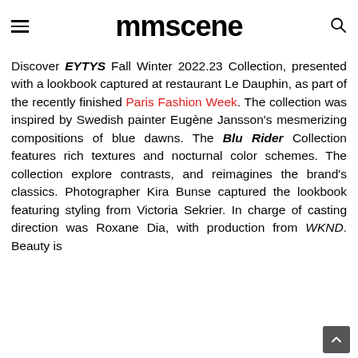mmscene
Discover EYTYS Fall Winter 2022.23 Collection, presented with a lookbook captured at restaurant Le Dauphin, as part of the recently finished Paris Fashion Week. The collection was inspired by Swedish painter Eugène Jansson's mesmerizing compositions of blue dawns. The Blu Rider Collection features rich textures and nocturnal color schemes. The collection explore contrasts, and reimagines the brand's classics. Photographer Kira Bunse captured the lookbook featuring styling from Victoria Sekrier. In charge of casting direction was Roxane Dia, with production from WKND. Beauty is